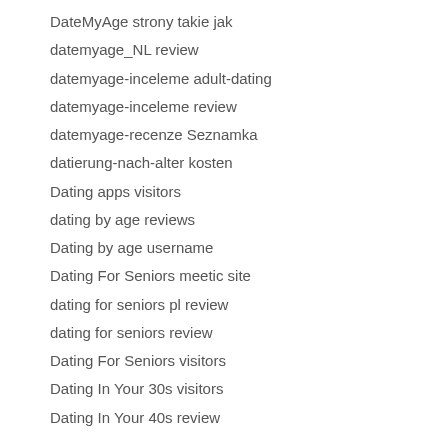DateMyAge strony takie jak
datemyage_NL review
datemyage-inceleme adult-dating
datemyage-inceleme review
datemyage-recenze Seznamka
datierung-nach-alter kosten
Dating apps visitors
dating by age reviews
Dating by age username
Dating For Seniors meetic site
dating for seniors pl review
dating for seniors review
Dating For Seniors visitors
Dating In Your 30s visitors
Dating In Your 40s review